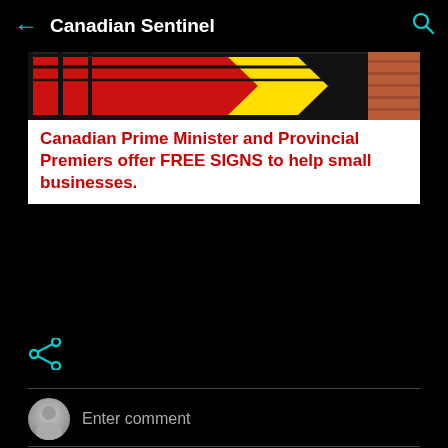Canadian Sentinel
[Figure (screenshot): Partial view of colorful storefront signs in red and yellow]
Canadian Prime Minister and Provincial Premiers offer FREE SIGNS to help small businesses.
[Figure (illustration): Cyan share icon (three connected circles)]
Enter comment